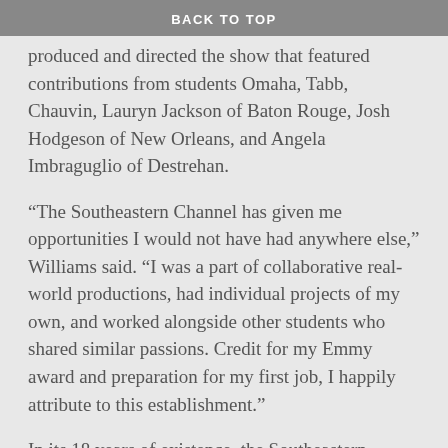BACK TO TOP
produced and directed the show that featured contributions from students Omaha, Tabb, Chauvin, Lauryn Jackson of Baton Rouge, Josh Hodgeson of New Orleans, and Angela Imbraguglio of Destrehan.
“The Southeastern Channel has given me opportunities I would not have had anywhere else,” Williams said. “I was a part of collaborative real-world productions, had individual projects of my own, and worked alongside other students who shared similar passions. Credit for my Emmy award and preparation for my first job, I happily attribute to this establishment.”
In its 18 years of existence, the Southeastern Channel has won over 400 national, international and regional awards. The Channel can be seen on Charter Spectrum 199 in Tangipahoa, St. Tammany, Livingston and St. Helena parishes and on mounthermonTV.com for viewers in Washington Parish. The Southeastern